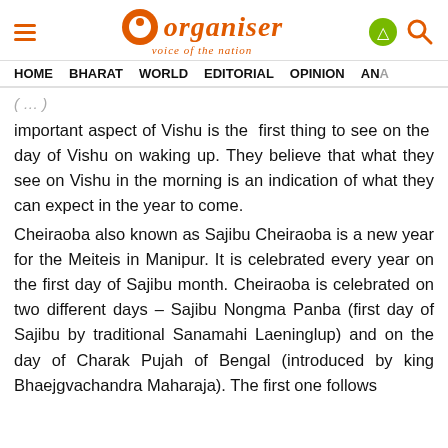Organiser — voice of the nation | HOME  BHARAT  WORLD  EDITORIAL  OPINION  ANA…
important aspect of Vishu is the first thing to see on the day of Vishu on waking up. They believe that what they see on Vishu in the morning is an indication of what they can expect in the year to come.
Cheiraoba also known as Sajibu Cheiraoba is a new year for the Meiteis in Manipur. It is celebrated every year on the first day of Sajibu month. Cheiraoba is celebrated on two different days – Sajibu Nongma Panba (first day of Sajibu by traditional Sanamahi Laeninglup) and on the day of Charak Pujah of Bengal (introduced by king Bhaejgvachandra Maharaja). The first one follows